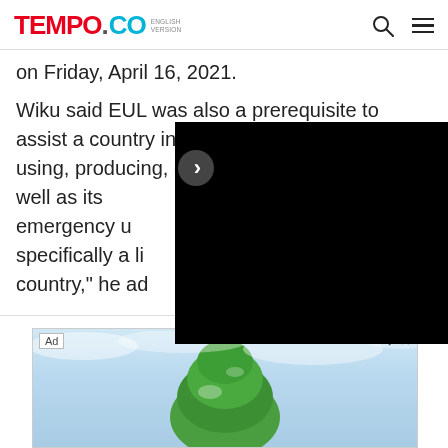TEMPO.CO ENGLISH VERSION
on Friday, April 16, 2021.
Wiku said EUL was also a prerequisite to assist a country in deciding the feasibility of using, producing, or importing vaccines, as well as its emergency u... specifically a li... country," he ad...
[Figure (other): Black video player overlay with a right-arrow navigation button]
[Figure (photo): Advertisement image showing a green tree against a cloudy sky background with Ad label and close/skip icons]